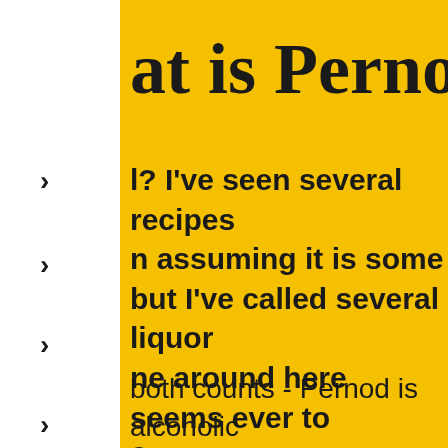at is Pernod?
> (arrow)
l? I've seen several recipes n assuming it is some but I've called several liquor ne around here seems ever to ?
> (arrow)
both counts - Pernod is alcoholic d. Pernod is the brand name of a